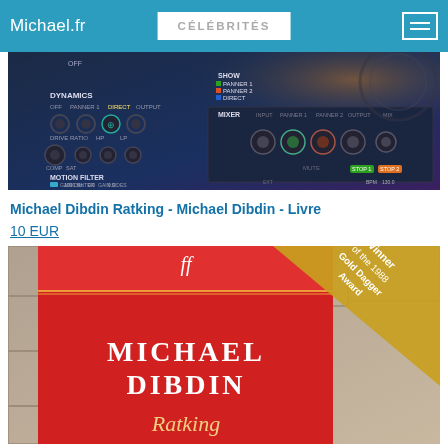Michael.fr | CÉLÉBRITÉS
[Figure (screenshot): Audio plugin interface showing DYNAMICS, MOTION FILTER, MIXER controls with knobs and buttons on dark background]
Michael Dibdin Ratking - Michael Dibdin - Livre
10 EUR
[Figure (photo): Book cover of Ratking by Michael Dibdin, red cover with gold diagonal banner reading 'Winner of the 1988 Gold Dagger Award']